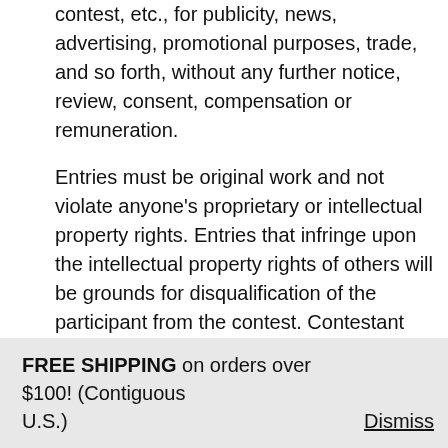contest, etc., for publicity, news, advertising, promotional purposes, trade, and so forth, without any further notice, review, consent, compensation or remuneration.
Entries must be original work and not violate anyone's proprietary or intellectual property rights. Entries that infringe upon the intellectual property rights of others will be grounds for disqualification of the participant from the contest. Contestant shall defend or settle against  claims arising from the infringement of intellection property rights as a
FREE SHIPPING on orders over $100! (Contiguous U.S.)    Dismiss